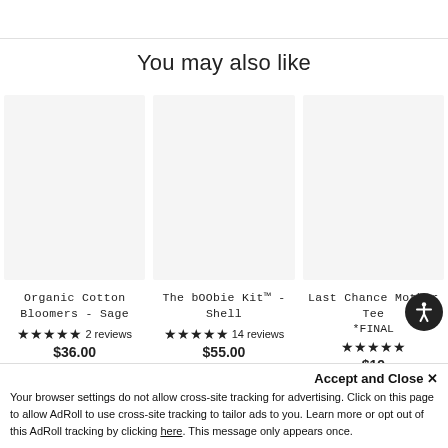You may also like
[Figure (other): Product image placeholder for Organic Cotton Bloomers - Sage]
Organic Cotton Bloomers - Sage
★★★★★ 2 reviews
$36.00
[Figure (other): Product image placeholder for The bOObie Kit™ - Shell]
The bOObie Kit™ - Shell
★★★★★ 14 reviews
$55.00
[Figure (other): Product image placeholder for Last Chance Mother Tee *FINAL]
Last Chance Mother Tee *FINAL
★★★★★
$19
Accept and Close ✕
Your browser settings do not allow cross-site tracking for advertising. Click on this page to allow AdRoll to use cross-site tracking to tailor ads to you. Learn more or opt out of this AdRoll tracking by clicking here. This message only appears once.